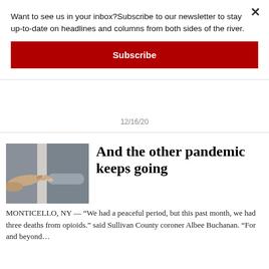Want to see us in your inbox?Subscribe to our newsletter to stay up-to-date on headlines and columns from both sides of the river.
Subscribe
12/16/20
[Figure (photo): Two hands reaching toward each other through a gap between walls or doors, appearing to make contact with fingers touching.]
And the other pandemic keeps going
MONTICELLO, NY — “We had a peaceful period, but this past month, we had three deaths from opioids.” said Sullivan County coroner Albee Buchanan. “For and beyond…